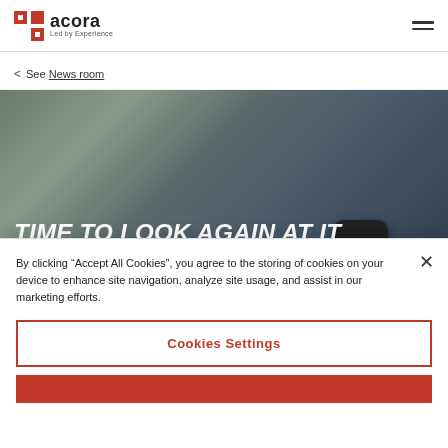acora | Led by Experience
< See News room
TIME TO LOOK AGAIN AT IT MANAGED SERVICES?
Managed Service
By clicking “Accept All Cookies”, you agree to the storing of cookies on your device to enhance site navigation, analyze site usage, and assist in our marketing efforts.
Cookies Settings